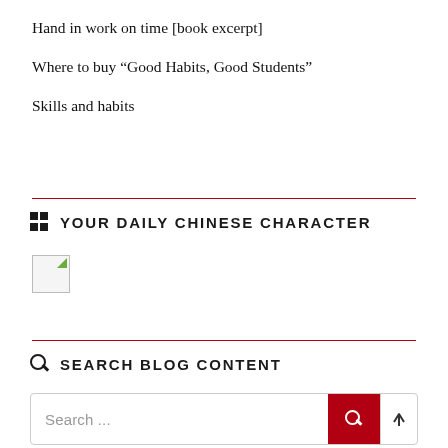Hand in work on time [book excerpt]
Where to buy “Good Habits, Good Students”
Skills and habits
YOUR DAILY CHINESE CHARACTER
[Figure (other): Broken image placeholder for a Chinese character image]
SEARCH BLOG CONTENT
[Figure (other): Search input box with red search button and up-arrow button]